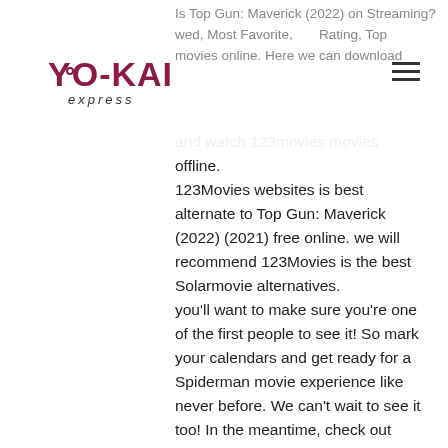Is Top Gun: Maverick (2022) on Streaming? Followed, Most Favorite, Rating, Top movies online. Here we can download and watch 123movies movies offline.
[Figure (logo): Yo-Kai Express logo with stylized text in dark red/maroon and 'express' in italic below]
123Movies websites is best alternate to Top Gun: Maverick (2022) (2021) free online. we will recommend 123Movies is the best Solarmovie alternatives.
you'll want to make sure you're one of the first people to see it! So mark your calendars and get ready for a Spiderman movie experience like never before. We can't wait to see it too! In the meantime, check out some of our other Marvel movies available to watch online. We're sure you'll find something to your liking. Thanks for reading, and we'll see you soon! Top Gun: Maverick (2022) is available on our website for free streaming. Just click the link below to watch the full movie in its entirety. Details on how you can watch Top Gun: Maverick (2022) for free throughout the year are described below.